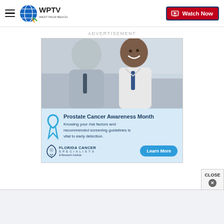WPTV West Palm Beach | Watch Now
ADVERTISEMENT
[Figure (photo): Advertisement for Florida Cancer Specialists: Prostate Cancer Awareness Month. Shows two men (doctor and patient) smiling. Lower panel with blue ribbon, text about risk factors and screening, Florida Cancer Specialists logo, and Learn More button.]
CLOSE